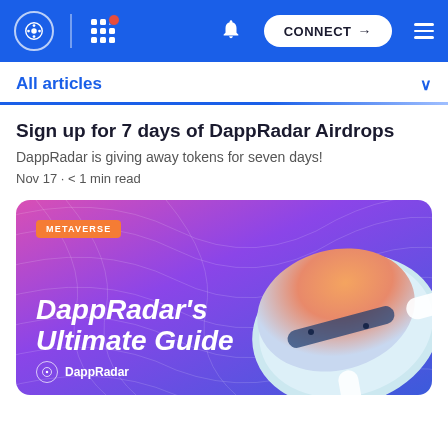DappRadar navigation bar with logo, grid menu, bell notification, CONNECT button, and hamburger menu
All articles
Sign up for 7 days of DappRadar Airdrops
DappRadar is giving away tokens for seven days!
Nov 17 · < 1 min read
[Figure (illustration): DappRdar's Ultimate Guide Metaverse banner with VR headset, purple/violet gradient background with wave patterns, orange METAVERSE tag, large bold italic white text 'DappRadar's Ultimate Guide', DappRadar logo and wordmark at bottom left]